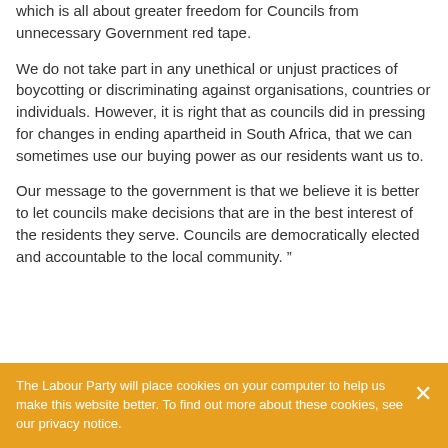which is all about greater freedom for Councils from unnecessary Government red tape.
We do not take part in any unethical or unjust practices of boycotting or discriminating against organisations, countries or individuals. However, it is right that as councils did in pressing for changes in ending apartheid in South Africa, that we can sometimes use our buying power as our residents want us to.
Our message to the government is that we believe it is better to let councils make decisions that are in the best interest of the residents they serve. Councils are democratically elected and accountable to the local community. “
The Labour Party will place cookies on your computer to help us make this website better. To find out more about these cookies, see our privacy notice.